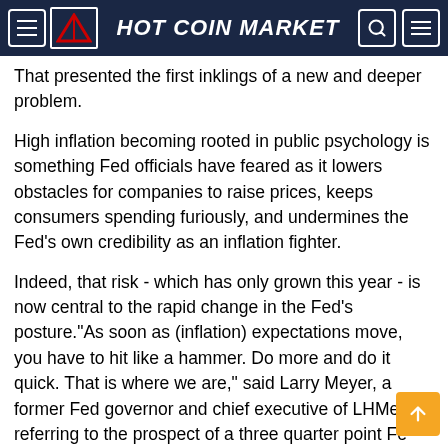HOT COIN MARKET
That presented the first inklings of a new and deeper problem.
High inflation becoming rooted in public psychology is something Fed officials have feared as it lowers obstacles for companies to raise prices, keeps consumers spending furiously, and undermines the Fed's own credibility as an inflation fighter.
Indeed, that risk - which has only grown this year - is now central to the rapid change in the Fed's posture."As soon as (inflation) expectations move, you have to hit like a hammer. Do more and do it quick. That is where we are," said Larry Meyer, a former Fed governor and chief executive of LHMeyer, referring to the prospect of a three quarter point Fed rate hike this week.